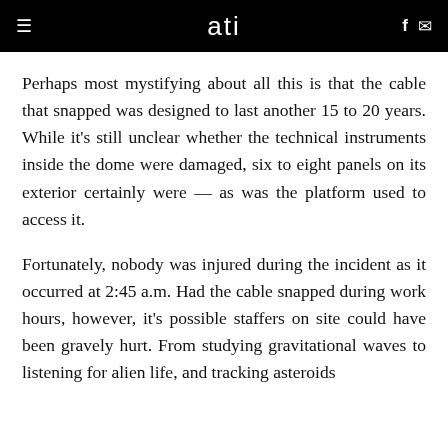ati
Perhaps most mystifying about all this is that the cable that snapped was designed to last another 15 to 20 years. While it's still unclear whether the technical instruments inside the dome were damaged, six to eight panels on its exterior certainly were — as was the platform used to access it.
Fortunately, nobody was injured during the incident as it occurred at 2:45 a.m. Had the cable snapped during work hours, however, it's possible staffers on site could have been gravely hurt. From studying gravitational waves to listening for alien life, and tracking asteroids